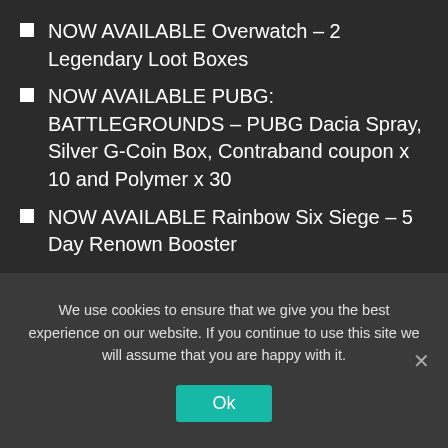NOW AVAILABLE Overwatch – 2 Legendary Loot Boxes
NOW AVAILABLE PUBG: BATTLEGROUNDS – PUBG Dacia Spray, Silver G-Coin Box, Contraband coupon x 10 and Polymer x 30
NOW AVAILABLE Rainbow Six Siege – 5 Day Renown Booster
NOW AVAILABLE Roblox – Virtual Nomad Bundle
NOW AVAILABLE Splitgate – Nebula Shotgun, Nebula Carbine, Nebula Plasma Rifle, Zeus Pistol
We use cookies to ensure that we give you the best experience on our website. If you continue to use this site we will assume that you are happy with it.